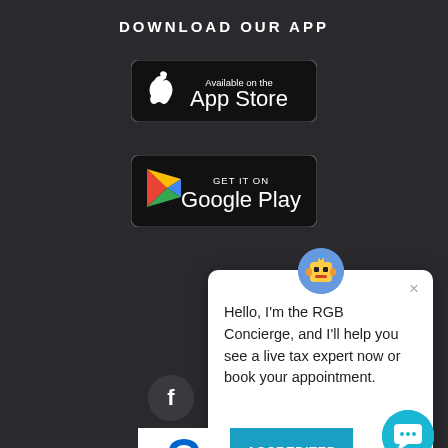DOWNLOAD OUR APP
[Figure (logo): Apple App Store download badge — black rounded rectangle with Apple logo and text 'Available on the App Store']
[Figure (logo): Google Play download badge — black rounded rectangle with Google Play triangle logo and text 'GET IT ON Google Play']
[Figure (screenshot): Chat popup from RGB Concierge with robot avatar icon and message: 'Hello, I'm the RGB Concierge, and I'll help you see a live tax expert now or book your appointment.' with an X close button. Below is a BBB Accredited Business badge. A Facebook icon button (dark circle with f) is to the left. A teal chat button circle is at bottom right.]